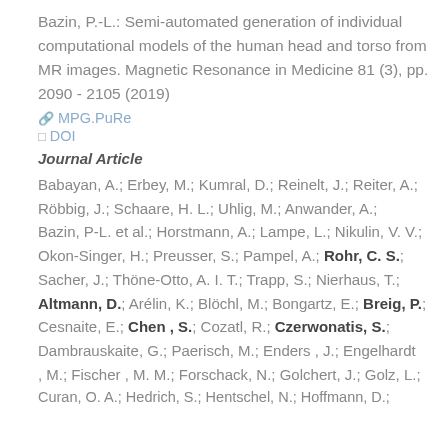Bazin, P.-L.: Semi-automated generation of individual computational models of the human head and torso from MR images. Magnetic Resonance in Medicine 81 (3), pp. 2090 - 2105 (2019)
🔗 MPG.PuRe
□DOI
Journal Article
Babayan, A.; Erbey, M.; Kumral, D.; Reinelt, J.; Reiter, A.; Röbbig, J.; Schaare, H. L.; Uhlig, M.; Anwander, A.; Bazin, P-L. et al.; Horstmann, A.; Lampe, L.; Nikulin, V. V.; Okon-Singer, H.; Preusser, S.; Pampel, A.; Rohr, C. S.; Sacher, J.; Thöne-Otto, A. I. T.; Trapp, S.; Nierhaus, T.; Altmann, D.; Arélin, K.; Blöchl, M.; Bongartz, E.; Breig, P.; Cesnaite, E.; Chen , S.; Cozatl, R.; Czerwonatis, S.; Dambrauskaite, G.; Paerisch, M.; Enders , J.; Engelhardt , M.; Fischer , M. M.; Forschack, N.; Golchert, J.; Golz, L.; Curan, O. A.; Hedrich, S.; Hentschel, N.; Hoffmann, D.;